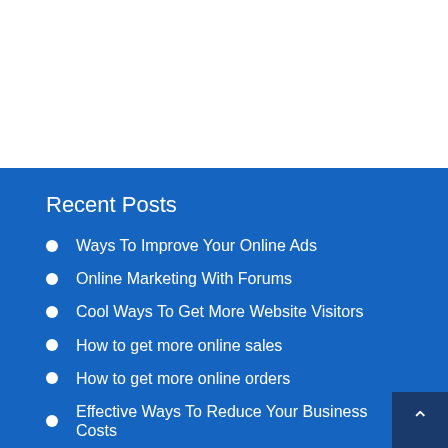Recent Posts
Ways To Improve Your Online Ads
Online Marketing With Forums
Cool Ways To Get More Website Visitors
How to get more online sales
How to get more online orders
Effective Ways To Reduce Your Business Costs
How to Write Money Making Sales Letters